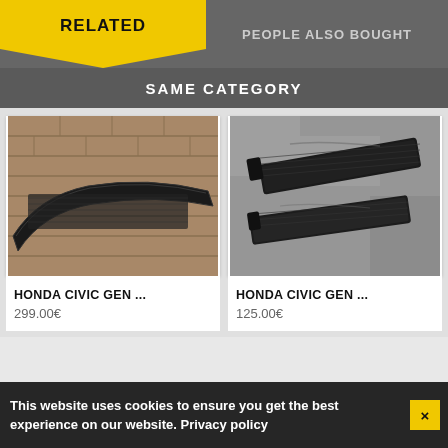RELATED
PEOPLE ALSO BOUGHT
SAME CATEGORY
[Figure (photo): Carbon fiber front lip splitter for Honda Civic, photographed on brick pavement]
HONDA CIVIC GEN ...
299.00€
[Figure (photo): Carbon fiber side skirt extensions for Honda Civic, two pieces photographed on concrete wall]
HONDA CIVIC GEN ...
125.00€
This website uses cookies to ensure you get the best experience on our website. Privacy policy